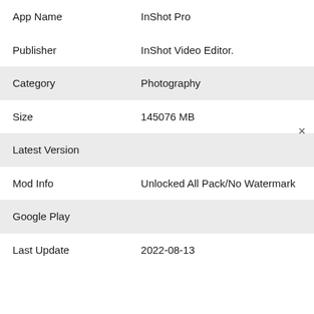| Field | Value |
| --- | --- |
| App Name | InShot Pro |
| Publisher | InShot Video Editor. |
| Category | Photography |
| Size | 145076 MB |
| Latest Version |  |
| Mod Info | Unlocked All Pack/No Watermark |
| Google Play |  |
| Last Update | 2022-08-13 |